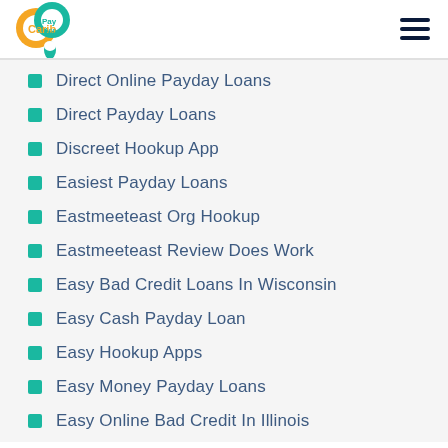Carib Pay App
Direct Online Payday Loans
Direct Payday Loans
Discreet Hookup App
Easiest Payday Loans
Eastmeeteast Org Hookup
Eastmeeteast Review Does Work
Easy Bad Credit Loans In Wisconsin
Easy Cash Payday Loan
Easy Hookup Apps
Easy Money Payday Loans
Easy Online Bad Credit In Illinois